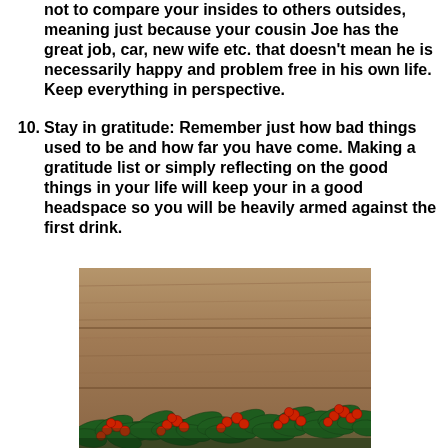not to compare your insides to others outsides, meaning just because your cousin Joe has the great job, car, new wife etc. that doesn't mean he is necessarily happy and problem free in his own life. Keep everything in perspective.
10. Stay in gratitude: Remember just how bad things used to be and how far you have come. Making a gratitude list or simply reflecting on the good things in your life will keep your in a good headspace so you will be heavily armed against the first drink.
[Figure (photo): Photo of pine/fir branches with red berries (holly) arranged along the bottom of a wooden background, resembling a Christmas decoration on a wood plank surface.]